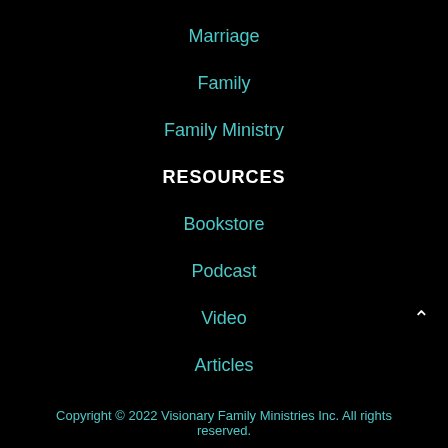Marriage
Family
Family Ministry
RESOURCES
Bookstore
Podcast
Video
Articles
Copyright © 2022 Visionary Family Ministries Inc. All rights reserved.